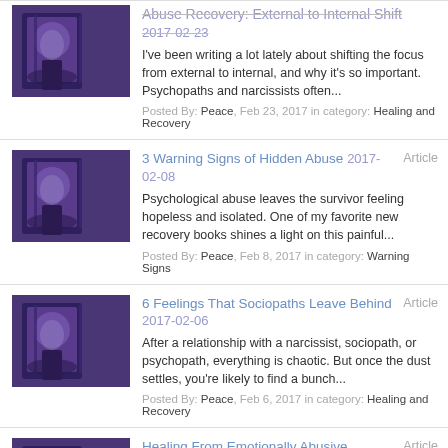Abuse Recovery: External to Internal Shift 2017-02-23 — I've been writing a lot lately about shifting the focus from external to internal, and why it's so important. Psychopaths and narcissists often... Posted By: Peace, Feb 23, 2017 in category: Healing and Recovery
3 Warning Signs of Hidden Abuse 2017-02-08 Article — Psychological abuse leaves the survivor feeling hopeless and isolated. One of my favorite new recovery books shines a light on this painful... Posted By: Peace, Feb 8, 2017 in category: Warning Signs
6 Feelings That Sociopaths Leave Behind 2017-02-06 Article — After a relationship with a narcissist, sociopath, or psychopath, everything is chaotic. But once the dust settles, you're likely to find a bunch... Posted By: Peace, Feb 6, 2017 in category: Healing and Recovery
Healing From Emotionally Abusive Relationships 2017-02-03 Article — When we are separated from love in a traumatic or extremely abrupt way (cheating, abandonment, replacement), we often internalize a message that... Posted By: Peace, Feb 3, 2017 in category: Emotional Abuse